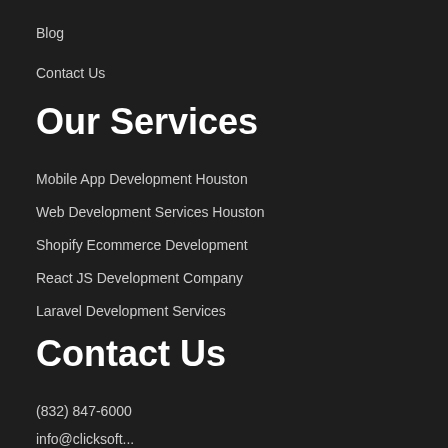Blog
Contact Us
Our Services
Mobile App Development Houston
Web Development Services Houston
Shopify Ecommerce Development
React JS Development Company
Laravel Development Services
Contact Us
(832) 847-6000
info@clicksoft...